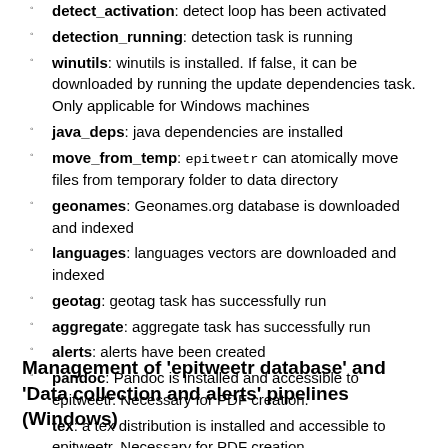detect_activation: detect loop has been activated
detection_running: detection task is running
winutils: winutils is installed. If false, it can be downloaded by running the update dependencies task. Only applicable for Windows machines
java_deps: java dependencies are installed
move_from_temp: epitweetr can atomically move files from temporary folder to data directory
geonames: Geonames.org database is downloaded and indexed
languages: languages vectors are downloaded and indexed
geotag: geotag task has successfully run
aggregate: aggregate task has successfully run
alerts: alerts have been created
pandoc: Pandoc is installed and accessible to epitweetr. Necessary for PDF creation.
tex: a tex distribution is installed and accessible to epitweetr. Necessary for PDF creation.
Management of ‘epitweetr database’ and ‘Data collection and alerts’ pipelines (Windows)